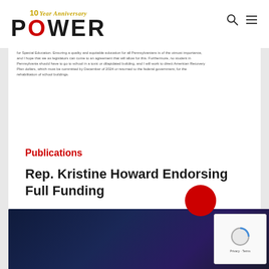[Figure (logo): POWER Interfaith 10 Year Anniversary logo with gold script and bold black POWER text]
for Special Education. Ensuring a quality and equitable education for all Pennsylvanians is of the utmost importance, and I hope that we as legislators can come to an agreement that will allow for this. Furthermore, no student in Pennsylvania should have to go to school in a toxic or dilapidated building, and I will work to direct American Recovery Plan dollars, which must be committed by December of 2024 or returned to the federal government, for the rehabilitation of school buildings.
Publications
Rep. Kristine Howard Endorsing Full Funding
POWER Interfaith
June 15, 2022
[Figure (photo): Dark blue/purple toned background image at bottom of page]
[Figure (other): reCAPTCHA verification widget showing spinning animation, Privacy and Terms links]